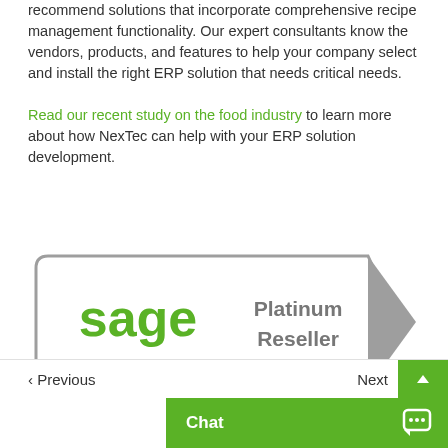recommend solutions that incorporate comprehensive recipe management functionality. Our expert consultants know the vendors, products, and features to help your company select and install the right ERP solution that needs critical needs.

Read our recent study on the food industry to learn more about how NexTec can help with your ERP solution development.
[Figure (logo): Sage Platinum Reseller badge - white banner shape with grey border and grey arrow tab on right, containing green 'sage' logo text and grey 'Platinum Reseller' text]
‹ Previous   Next  Chat